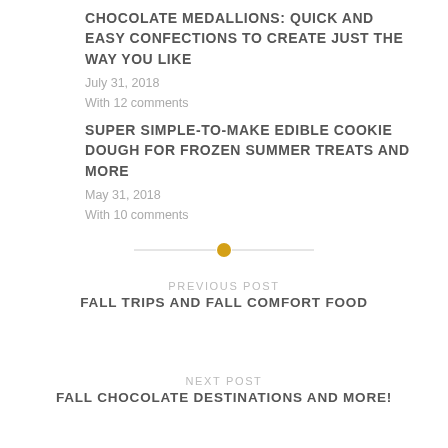CHOCOLATE MEDALLIONS: QUICK AND EASY CONFECTIONS TO CREATE JUST THE WAY YOU LIKE
July 31, 2018
With 12 comments
SUPER SIMPLE-TO-MAKE EDIBLE COOKIE DOUGH FOR FROZEN SUMMER TREATS AND MORE
May 31, 2018
With 10 comments
[Figure (other): Decorative divider with a gold circle in the center and horizontal lines on each side]
PREVIOUS POST
FALL TRIPS AND FALL COMFORT FOOD
NEXT POST
FALL CHOCOLATE DESTINATIONS AND MORE!